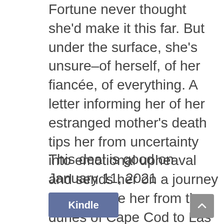Fortune never thought she'd make it this far. But under the surface, she's unsure–of herself, of her fiancée, of everything. A letter informing her of her estranged mother's death tips her from uncertainty into emotional upheaval and sends her on a journey that will take her from the dunes of Cape Cod to Las Vegas and back.
This deal is good on January 11, 2021
[Figure (other): Blue 'Kindle' button linking to Kindle deal]
[Figure (other): Gray scroll-to-top arrow button in bottom right corner]